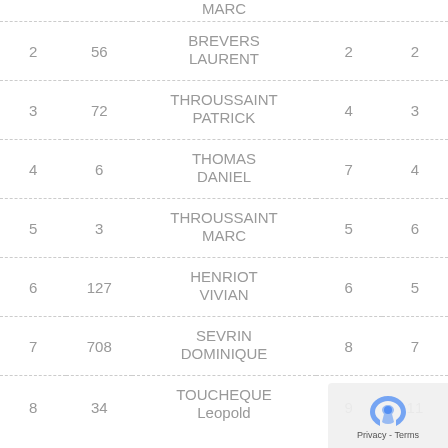| Col1 | Col2 | Name | Col4 | Col5 |
| --- | --- | --- | --- | --- |
|  |  | MARC |  |  |
| 2 | 56 | BREVERS
LAURENT | 2 | 2 |
| 3 | 72 | THROUSSAINT
PATRICK | 4 | 3 |
| 4 | 6 | THOMAS
DANIEL | 7 | 4 |
| 5 | 3 | THROUSSAINT
MARC | 5 | 6 |
| 6 | 127 | HENRIOT
VIVIAN | 6 | 5 |
| 7 | 708 | SEVRIN
DOMINIQUE | 8 | 7 |
| 8 | 34 | TOUCHEQUE
Leopold | 9 | 11 |